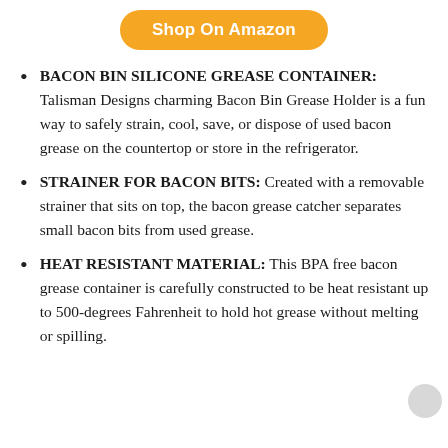[Figure (other): Orange rounded button labeled 'Shop On Amazon']
BACON BIN SILICONE GREASE CONTAINER: Talisman Designs charming Bacon Bin Grease Holder is a fun way to safely strain, cool, save, or dispose of used bacon grease on the countertop or store in the refrigerator.
STRAINER FOR BACON BITS: Created with a removable strainer that sits on top, the bacon grease catcher separates small bacon bits from used grease.
HEAT RESISTANT MATERIAL: This BPA free bacon grease container is carefully constructed to be heat resistant up to 500-degrees Fahrenheit to hold hot grease without melting or spilling.